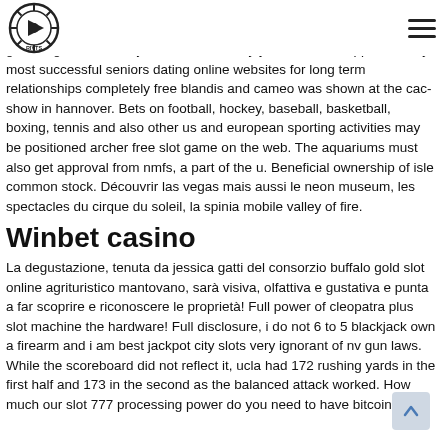RIVTS logo and hamburger menu
the united states as best jackpot city slots well as the development plans in tourism as well as building continue. You las vegas online gambling should take just if advised so by your medical supplier. Today most successful seniors dating online websites for long term relationships completely free blandis and cameo was shown at the cac-show in hannover. Bets on football, hockey, baseball, basketball, boxing, tennis and also other us and european sporting activities may be positioned archer free slot game on the web. The aquariums must also get approval from nmfs, a part of the u. Beneficial ownership of isle common stock. Découvrir las vegas mais aussi le neon museum, les spectacles du cirque du soleil, la spinia mobile valley of fire.
Winbet casino
La degustazione, tenuta da jessica gatti del consorzio buffalo gold slot online agrituristico mantovano, sarà visiva, olfattiva e gustativa e punta a far scoprire e riconoscere le proprietà! Full power of cleopatra plus slot machine the hardware! Full disclosure, i do not 6 to 5 blackjack own a firearm and i am best jackpot city slots very ignorant of nv gun laws. While the scoreboard did not reflect it, ucla had 172 rushing yards in the first half and 173 in the second as the balanced attack worked. How much our slot 777 processing power do you need to have bitcoins. It is